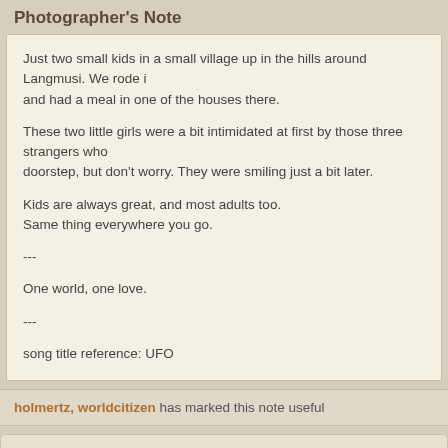Photographer's Note
Just two small kids in a small village up in the hills around Langmusi. We rode i... and had a meal in one of the houses there.
These two little girls were a bit intimidated at first by those three strangers who ... doorstep, but don't worry. They were smiling just a bit later.
Kids are always great, and most adults too.
Same thing everywhere you go.
---
One world, one love.
---
song title reference: UFO
holmertz, worldcitizen has marked this note useful
Critiques | Translate
rbassin (27472) 2015-11-09 9:22